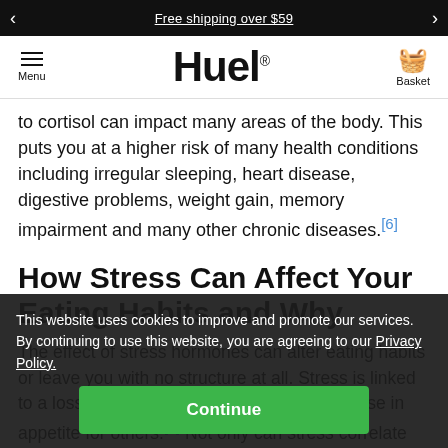Free shipping over $59
Huel® — Menu | Basket
to cortisol can impact many areas of the body. This puts you at a higher risk of many health conditions including irregular sleeping, heart disease, digestive problems, weight gain, memory impairment and many other chronic diseases.[6]
How Stress Can Affect Your Eating Habits and Why
The effect of stress hormones can alter eating habits or leave you with no structure at all. Stress is linked to a loss of appetite in some or a rapid increase in appetite for others.[7] Not only can stress correlate with the amount of food eaten, but it also affects eating patterns.[8, 9]
This website uses cookies to improve and promote our services. By continuing to use this website, you are agreeing to our Privacy Policy. [Continue button]